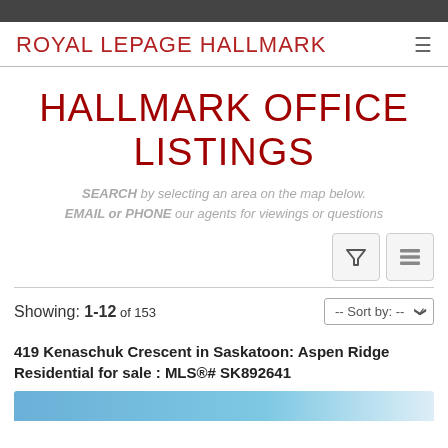ROYAL LEPAGE HALLMARK
HALLMARK OFFICE LISTINGS
SEARCH by selecting an area on the map below. EMAIL or PHONE our agents for viewings or questions
Showing: 1-12 of 153
419 Kenaschuk Crescent in Saskatoon: Aspen Ridge Residential for sale : MLS®# SK892641